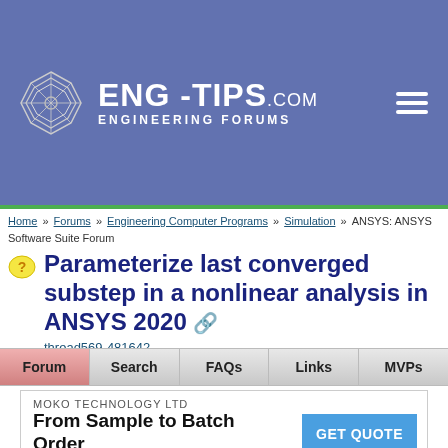ENG-TIPS.COM ENGINEERING FORUMS
Home » Forums » Engineering Computer Programs » Simulation » ANSYS: ANSYS Software Suite Forum
Parameterize last converged substep in a nonlinear analysis in ANSYS 2020
thread569-481642
| Forum | Search | FAQs | Links | MVPs |
| --- | --- | --- | --- | --- |
[Figure (screenshot): Advertisement banner for MOKO TECHNOLOGY LTD with text 'From Sample to Batch Order' and a 'GET QUOTE' button]